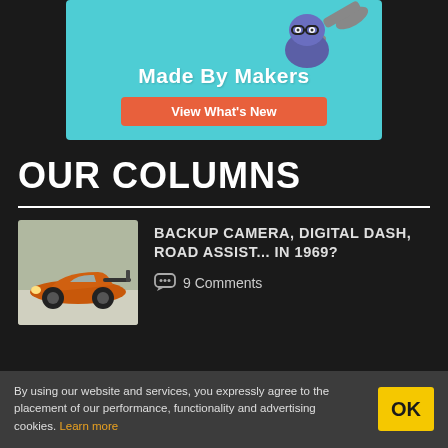[Figure (illustration): Advertisement banner with teal background, cartoon mascot with glasses and wrench, text 'Made By Makers' and orange button 'View What's New']
OUR COLUMNS
[Figure (photo): Orange sports car (low-profile race car) on a track, 1960s era]
BACKUP CAMERA, DIGITAL DASH, ROAD ASSIST... IN 1969?
9 Comments
By using our website and services, you expressly agree to the placement of our performance, functionality and advertising cookies. Learn more